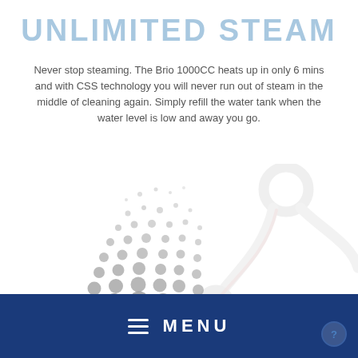UNLIMITED STEAM
Never stop steaming. The Brio 1000CC heats up in only 6 mins and with CSS technology you will never run out of steam in the middle of cleaning again. Simply refill the water tank when the water level is low and away you go.
[Figure (illustration): Decorative background illustration showing a pattern of grey dots (steam bubbles) on the left side and a faded stethoscope on the right side, with 'EMC2' text label below the dots]
MENU